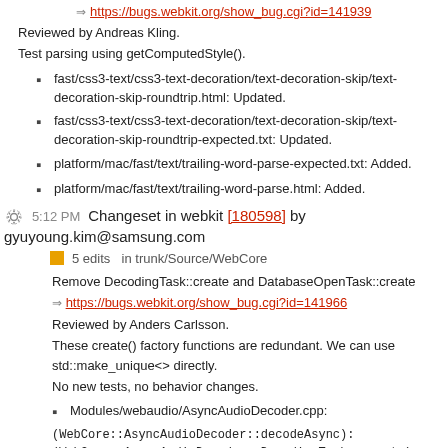⇒ https://bugs.webkit.org/show_bug.cgi?id=141939
Reviewed by Andreas Kling.
Test parsing using getComputedStyle().
fast/css3-text/css3-text-decoration/text-decoration-skip/text-decoration-skip-roundtrip.html: Updated.
fast/css3-text/css3-text-decoration/text-decoration-skip/text-decoration-skip-roundtrip-expected.txt: Updated.
platform/mac/fast/text/trailing-word-parse-expected.txt: Added.
platform/mac/fast/text/trailing-word-parse.html: Added.
5:12 PM Changeset in webkit [180598] by gyuyoung.kim@samsung.com
5 edits in trunk/Source/WebCore
Remove DecodingTask::create and DatabaseOpenTask::create
⇒ https://bugs.webkit.org/show_bug.cgi?id=141966
Reviewed by Anders Carlsson.
These create() factory functions are redundant. We can use std::make_unique<> directly.
No new tests, no behavior changes.
Modules/webaudio/AsyncAudioDecoder.cpp:
(WebCore::AsyncAudioDecoder::decodeAsync):
(WebCore::AsyncAudioDecoder::DecodingTask::create): Deleted.
Modules/webaudio/AsyncAudioDecoder.h:
Modules/webdatabase/Database.cpp: